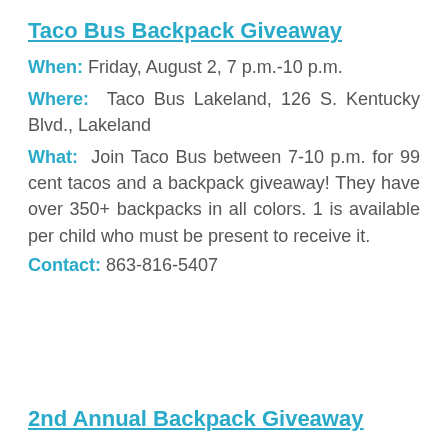Taco Bus Backpack Giveaway
When: Friday, August 2, 7 p.m.-10 p.m.
Where: Taco Bus Lakeland, 126 S. Kentucky Blvd., Lakeland
What: Join Taco Bus between 7-10 p.m. for 99 cent tacos and a backpack giveaway! They have over 350+ backpacks in all colors. 1 is available per child who must be present to receive it.
Contact: 863-816-5407
2nd Annual Backpack Giveaway